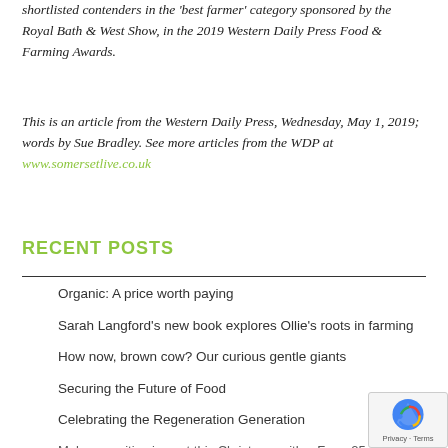shortlisted contenders in the 'best farmer' category sponsored by the Royal Bath & West Show, in the 2019 Western Daily Press Food & Farming Awards.
This is an article from the Western Daily Press, Wednesday, May 1, 2019; words by Sue Bradley. See more articles from the WDP at www.somersetlive.co.uk
RECENT POSTS
Organic: A price worth paying
Sarah Langford's new book explores Ollie's roots in farming
How now, brown cow? Our curious gentle giants
Securing the Future of Food
Celebrating the Regeneration Generation
Make a positive impact this Christmas with a Farm 25 scheme…